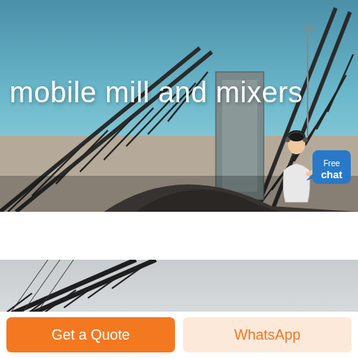[Figure (photo): Industrial conveyor belt system with large machinery and piles of crushed rock/aggregate under a blue sky. Mining or quarrying operation site.]
mobile mill and mixers
[Figure (illustration): Small cartoon figure of a customer service agent/representative in white uniform gesturing beside a blue 'Free chat' speech bubble button.]
[Figure (photo): Close-up of an industrial conveyor belt structure against a pale grey sky. Mining equipment.]
Get a Quote
WhatsApp